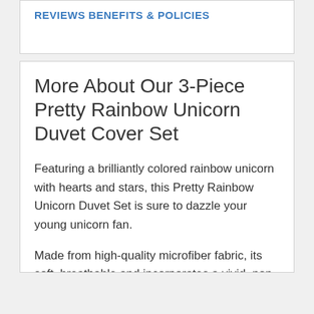REVIEWS
BENEFITS & POLICIES
More About Our 3-Piece Pretty Rainbow Unicorn Duvet Cover Set
Featuring a brilliantly colored rainbow unicorn with hearts and stars, this Pretty Rainbow Unicorn Duvet Set is sure to dazzle your young unicorn fan.
Made from high-quality microfiber fabric, its soft, breathable and incorporates a vivid, non-toxic reactive heat print that is fade, shrink and wrinkle resistant.